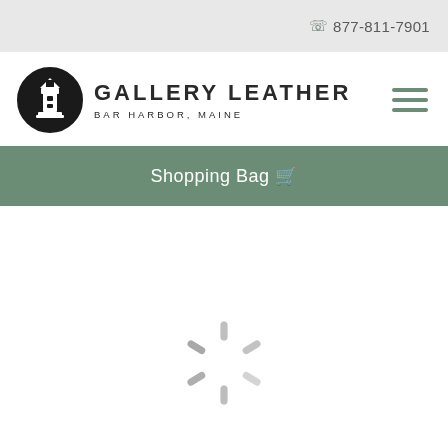877-811-7901
[Figure (logo): Gallery Leather Bar Harbor Maine logo with lighthouse icon in circle]
Shopping Bag
[Figure (other): Loading spinner animation]